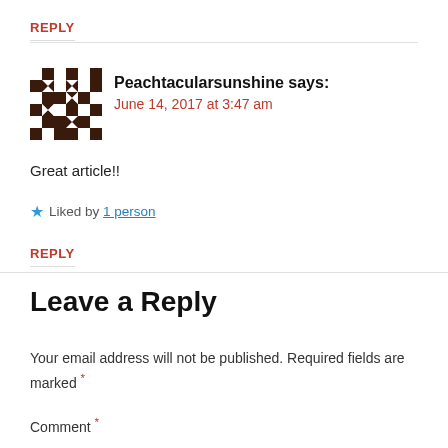REPLY
[Figure (illustration): Geometric avatar with diamond/cross pattern in dark brown and white, typical WordPress identicon]
Peachtacularsunshine says:
June 14, 2017 at 3:47 am
Great article!!
★ Liked by 1 person
REPLY
Leave a Reply
Your email address will not be published. Required fields are marked *
Comment *